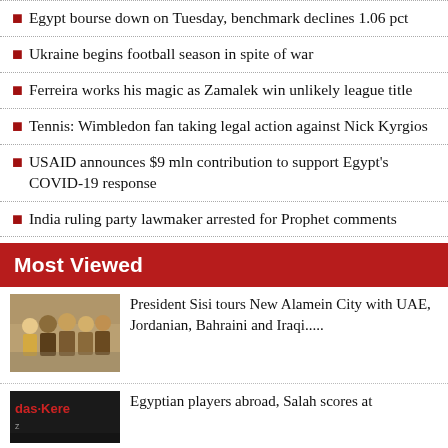Egypt bourse down on Tuesday, benchmark declines 1.06 pct
Ukraine begins football season in spite of war
Ferreira works his magic as Zamalek win unlikely league title
Tennis: Wimbledon fan taking legal action against Nick Kyrgios
USAID announces $9 mln contribution to support Egypt's COVID-19 response
India ruling party lawmaker arrested for Prophet comments
Most Viewed
[Figure (photo): Photo of President Sisi with UAE, Jordanian, Bahraini and Iraqi officials]
President Sisi tours New Alamein City with UAE, Jordanian, Bahraini and Iraqi.....
[Figure (photo): Photo related to Egyptian players abroad Salah article]
Egyptian players abroad, Salah scores at